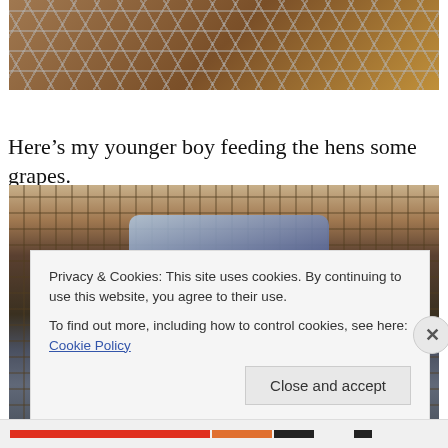[Figure (photo): Partial view of chicken wire/hex mesh fencing with brown earthy background, top of page]
Here’s my younger boy feeding the hens some grapes.
[Figure (photo): A young blonde child in a dark blue jacket leaning through a wire fence, apparently feeding hens grapes; adults visible in background]
Privacy & Cookies: This site uses cookies. By continuing to use this website, you agree to their use.
To find out more, including how to control cookies, see here: Cookie Policy